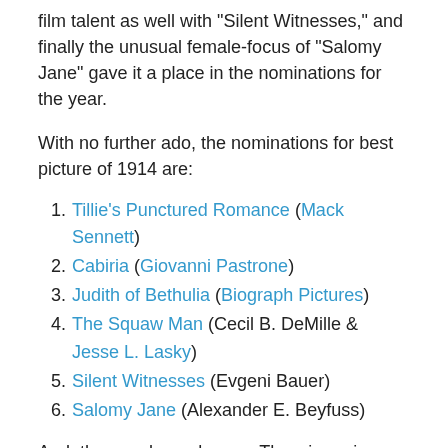film talent as well with “Silent Witnesses,” and finally the unusual female-focus of “Salomy Jane” gave it a place in the nominations for the year.
With no further ado, the nominations for best picture of 1914 are:
1. Tillie’s Punctured Romance (Mack Sennett)
2. Cabiria (Giovanni Pastrone)
3. Judith of Bethulia (Biograph Pictures)
4. The Squaw Man (Cecil B. DeMille & Jesse L. Lasky)
5. Silent Witnesses (Evgeni Bauer)
6. Salomy Jane (Alexander E. Beyfuss)
And, the envelope please…The winner is… “Cabiria!”
[Figure (photo): Partial view of a movie poster or film title card for Cabiria, showing 'LATIN FILMS presents' text at top left and large red stylized letters of the title on a yellow/gold background.]